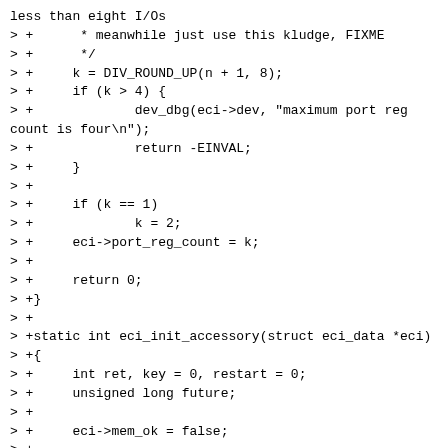less than eight I/Os
> +      * meanwhile just use this kludge, FIXME
> +      */
> +     k = DIV_ROUND_UP(n + 1, 8);
> +     if (k > 4) {
> +             dev_dbg(eci->dev, "maximum port reg count is four\n");
> +             return -EINVAL;
> +     }
> +
> +     if (k == 1)
> +             k = 2;
> +     eci->port_reg_count = k;
> +
> +     return 0;
> +}
> +
> +static int eci_init_accessory(struct eci_data *eci)
> +{
> +     int ret, key = 0, restart = 0;
> +     unsigned long future;
> +
> +     eci->mem_ok = false;
> +
> +     if (!eci->eci_hw_ops)
> +             return -ENXIO;
Shouldn't you check this earlier, when registering the accessory?